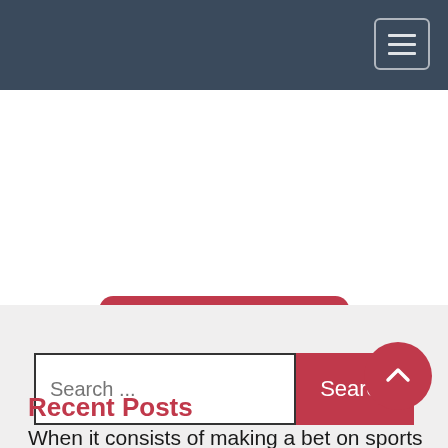Navigation bar with hamburger menu
Post Comment
[Figure (screenshot): Search bar section with text input reading 'Search ...' and a red Search button]
Recent Posts
When it consists of making a bet on sports